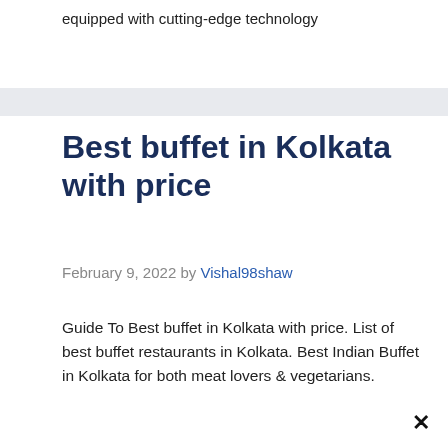equipped with cutting-edge technology
Best buffet in Kolkata with price
February 9, 2022 by Vishal98shaw
Guide To Best buffet in Kolkata with price. List of best buffet restaurants in Kolkata. Best Indian Buffet in Kolkata for both meat lovers & vegetarians.